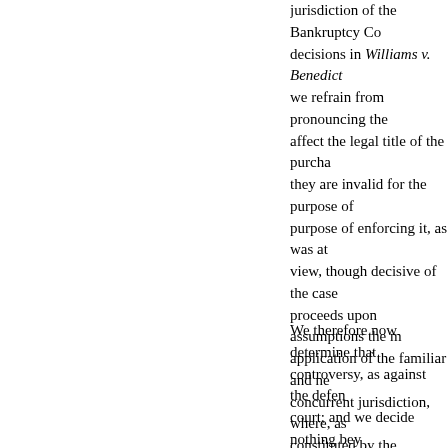jurisdiction of the Bankruptcy Court decisions in Williams v. Benedict we refrain from pronouncing the affect the legal title of the purcha they are invalid for the purpose o purpose of enforcing it, as was at view, though decisive of the case proceeds upon assumptions the m application of the familiar and ne concurrent jurisdiction, where, as constituted by the authority of di That rule has no reference to the the respective claims in behalf of matter of necessity, and therefore dominion of the property involve dominion which is equivalent, dr jurisdiction. It was in accordance confirmed the legal title of land t court, because first actually levie United States, which had a priori
We therefore now determine that controversy, as against the defen court; and we decide nothing bey decreed by the district court one